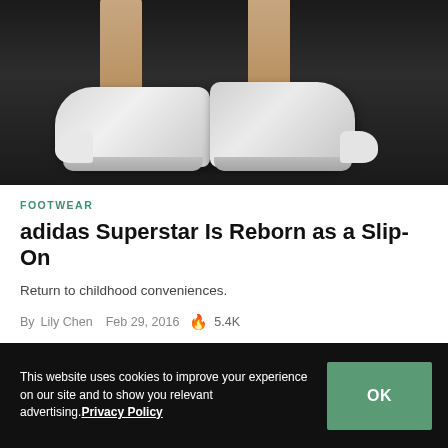[Figure (photo): Close-up photo of white adidas Superstar slip-on sneakers worn by a person, shot against a dark asphalt background.]
FOOTWEAR
adidas Superstar Is Reborn as a Slip-On
Return to childhood conveniences.
By Lily Chen   Feb 29, 2016   🔥 5.4K
This website uses cookies to improve your experience on our site and to show you relevant advertising. Privacy Policy